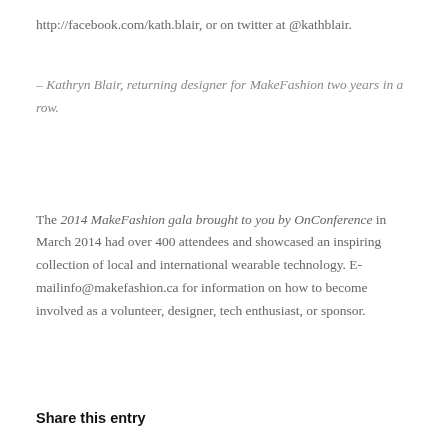http://facebook.com/kath.blair, or on twitter at @kathblair.
– Kathryn Blair, returning designer for MakeFashion two years in a row.
The 2014 MakeFashion gala brought to you by OnConference in March 2014 had over 400 attendees and showcased an inspiring collection of local and international wearable technology. E-mailinfo@makefashion.ca for information on how to become involved as a volunteer, designer, tech enthusiast, or sponsor.
Share this entry